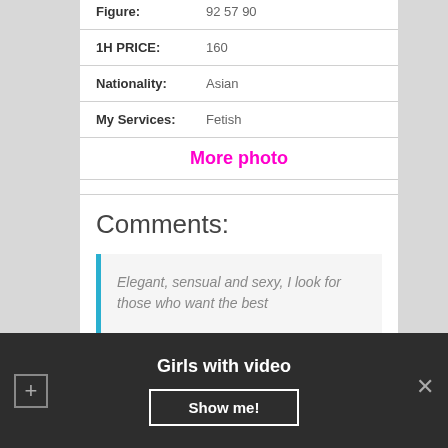| Figure: | 92 57 90 |
| 1H PRICE: | 160 |
| Nationality: | Asian |
| My Services: | Fetish |
More photo
Comments:
Elegant, sensual and sexy, I look for those who want the best
Girls with video
Show me!